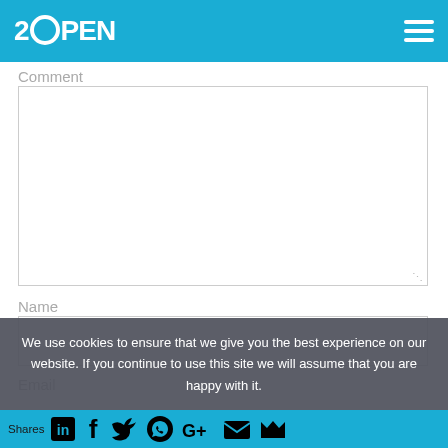2OPEN
Comment
[Figure (screenshot): Comment text area input field, empty]
Name
[Figure (screenshot): Name input field, empty]
Email
We use cookies to ensure that we give you the best experience on our website. If you continue to use this site we will assume that you are happy with it.
Shares [social share icons: LinkedIn, Facebook, Twitter, WhatsApp, Google+, Email, Bookmark]